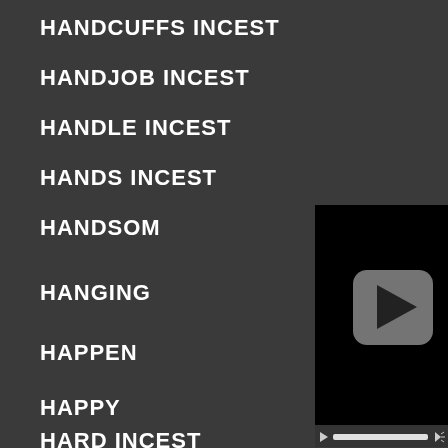HANDCUFFS INCEST
HANDJOB INCEST
HANDLE INCEST
HANDS INCEST
HANDSOME [INCEST]
HANGING [INCEST]
HAPPEN [INCEST]
HAPPY [INCEST]
HARD INCEST
[Figure (screenshot): Video player with black background and gray play button in center, with media controls bar at bottom]